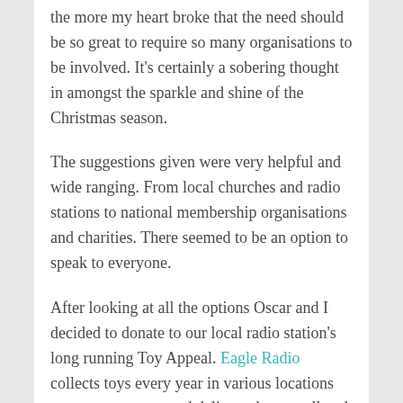the more my heart broke that the need should be so great to require so many organisations to be involved. It's certainly a sobering thought in amongst the sparkle and shine of the Christmas season.
The suggestions given were very helpful and wide ranging. From local churches and radio stations to national membership organisations and charities. There seemed to be an option to speak to everyone.
After looking at all the options Oscar and I decided to donate to our local radio station's long running Toy Appeal. Eagle Radio collects toys every year in various locations across our county and delivers them to all and lots of local organisations